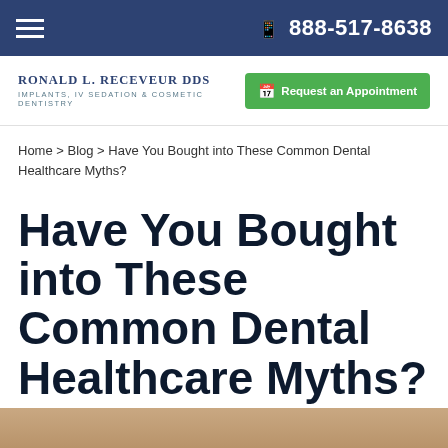☰  📱 888-517-8638
Ronald L. Receveur DDS — Implants, IV Sedation & Cosmetic Dentistry | Request an Appointment
Home > Blog > Have You Bought into These Common Dental Healthcare Myths?
Have You Bought into These Common Dental Healthcare Myths?
📅 May 28, 2014